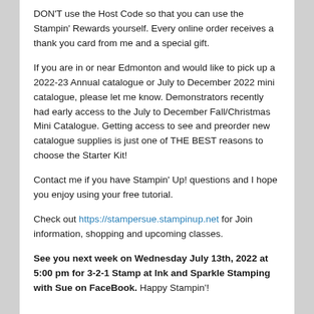DON'T use the Host Code so that you can use the Stampin' Rewards yourself. Every online order receives a thank you card from me and a special gift.
If you are in or near Edmonton and would like to pick up a 2022-23 Annual catalogue or July to December 2022 mini catalogue, please let me know. Demonstrators recently had early access to the July to December Fall/Christmas Mini Catalogue. Getting access to see and preorder new catalogue supplies is just one of THE BEST reasons to choose the Starter Kit!
Contact me if you have Stampin' Up! questions and I hope you enjoy using your free tutorial.
Check out https://stampersue.stampinup.net for Join information, shopping and upcoming classes.
See you next week on Wednesday July 13th, 2022 at 5:00 pm for 3-2-1 Stamp at Ink and Sparkle Stamping with Sue on FaceBook. Happy Stampin'!